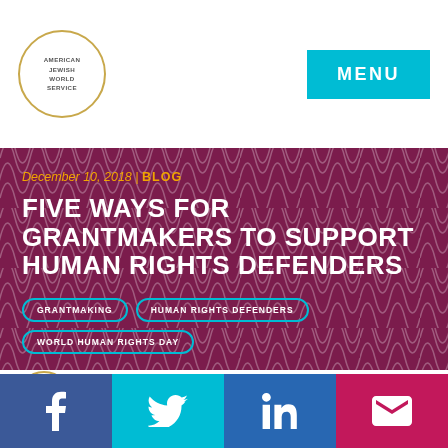AMERICAN JEWISH WORLD SERVICE | MENU
[Figure (logo): American Jewish World Service circular logo with gold border]
MENU
[Figure (infographic): Dark maroon/purple hero banner with decorative wave pattern]
December 10, 2018 | BLOG
FIVE WAYS FOR GRANTMAKERS TO SUPPORT HUMAN RIGHTS DEFENDERS
GRANTMAKING
HUMAN RIGHTS DEFENDERS
WORLD HUMAN RIGHTS DAY
[Figure (logo): American Jewish World Service small circular logo with gold border]
Posted by AJWS Staff
Social share buttons: Facebook, Twitter, LinkedIn, Email